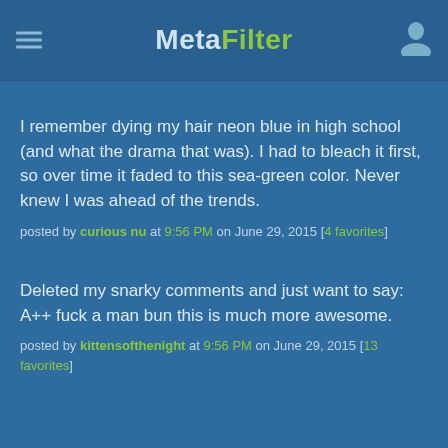MetaFilter
I remember dying my hair neon blue in high school (and what the drama that was). I had to bleach it first, so over time it faded to this sea-green color. Never knew I was ahead of the trends.
posted by curious nu at 9:56 PM on June 29, 2015 [4 favorites]
Deleted my snarky comments and just want to say: A++ fuck a man bun this is much more awesome.
posted by kittensofthenight at 9:56 PM on June 29, 2015 [13 favorites]